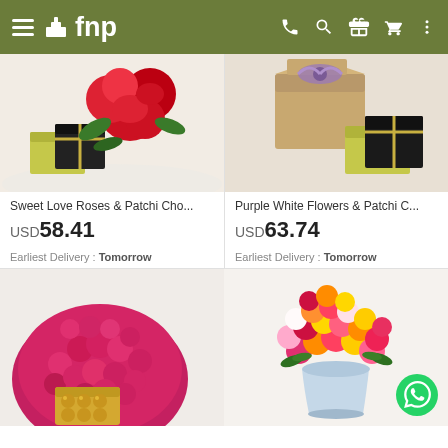fnp
[Figure (photo): Sweet Love Roses & Patchi Chocolates product photo - red roses with chocolate gift boxes]
Sweet Love Roses & Patchi Cho...
USD 58.41
Earliest Delivery : Tomorrow
[Figure (photo): Purple White Flowers & Patchi Chocolates product photo - gift box with ribbon and chocolate boxes]
Purple White Flowers & Patchi C...
USD 63.74
Earliest Delivery : Tomorrow
[Figure (photo): Large bouquet of pink/red roses with Ferrero Rocher chocolates]
[Figure (photo): Large colorful mixed roses bouquet in a vase]